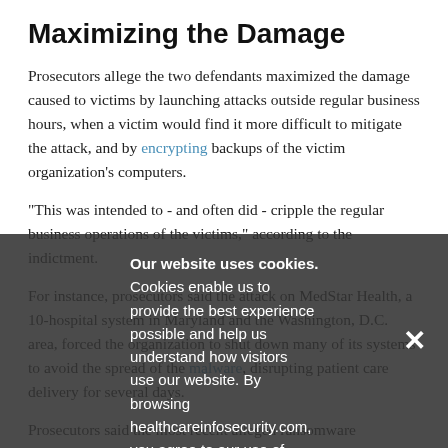Maximizing the Damage
Prosecutors allege the two defendants maximized the damage caused to victims by launching attacks outside regular business hours, when a victim would find it more difficult to mitigate the attack, and by encrypting backups of the victim organization's computers.
"This was intended to - and often did - cripple the regular business operations of the victims," according to the indictment.
For instance, prosecutors said the attack on MedStar Health, a 10-hospital system in Maryland and the Washington, D.C. area, forced the organization to shut down many of its systems to avoid the spread of the malware, disrupting patient care delivery for several days.
Prosecutors said the most recent alleged ransomware
Our website uses cookies. Cookies enable us to provide the best experience possible and help us understand how visitors use our website. By browsing healthcareinfosecurity.com, you agree to our use of cookies.